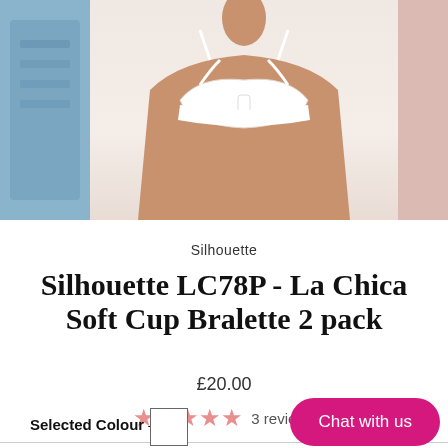[Figure (photo): Product page screenshot showing a model wearing a white Silhouette LC78P La Chica Soft Cup Bralette, with thumbnail images on left and right sides]
Silhouette
Silhouette LC78P - La Chica Soft Cup Bralette 2 pack
£20.00
3 reviews
Selected Colour — W
Chat with us